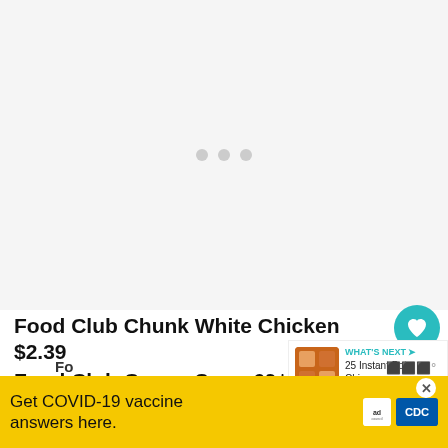[Figure (photo): Loading image area with three gray dots indicating content loading]
Food Club Chunk White Chicken $2.39
Food Club Cream Soup 69¢
[Figure (screenshot): What's Next panel with thumbnail and text: '25 Instant Pot Chinese...']
Get COVID-19 vaccine answers here.
[Figure (logo): Ad Council and CDC logos on yellow advertisement banner]